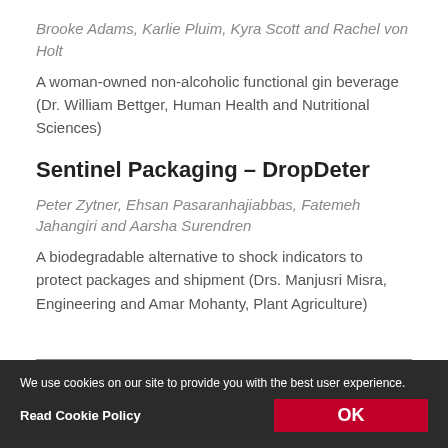Brooke Adams, Karlie Pluim, Kyra Scott and Rachel von Holt
A woman-owned non-alcoholic functional gin beverage (Dr. William Bettger, Human Health and Nutritional Sciences)
Sentinel Packaging – DropDeter
Peter Zytner, Ehsan Pasaranhajiabbas, Fatemeh Jahangiri and Aarsha Surendren
A biodegradable alternative to shock indicators to protect packages and shipment (Drs. Manjusri Misra, Engineering and Amar Mohanty, Plant Agriculture)
We use cookies on our site to provide you with the best user experience. Read Cookie Policy OK